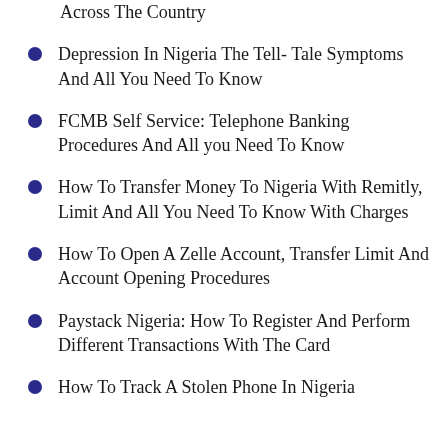Across The Country
Depression In Nigeria The Tell- Tale Symptoms And All You Need To Know
FCMB Self Service: Telephone Banking Procedures And All you Need To Know
How To Transfer Money To Nigeria With Remitly, Limit And All You Need To Know With Charges
How To Open A Zelle Account, Transfer Limit And Account Opening Procedures
Paystack Nigeria: How To Register And Perform Different Transactions With The Card
How To Track A Stolen Phone In Nigeria